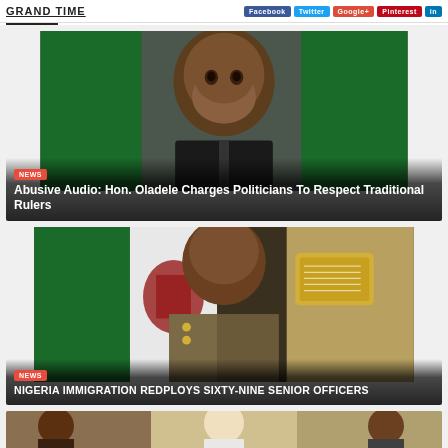GRAND TIME
[Figure (photo): Nigerian politician in suit with Nigerian flags in background, smiling]
NEWS
Abusive Audio: Hon. Oladele Charges Politicians To Respect Traditional Rulers
[Figure (photo): Nigerian immigration officer in uniform with epaulettes, Nigerian coat of arms visible]
NEWS
NIGERIA IMMIGRATION REDPLOYS SIXTY-NINE SENIOR OFFICERS
[Figure (photo): Partial view of another news story image at the bottom]